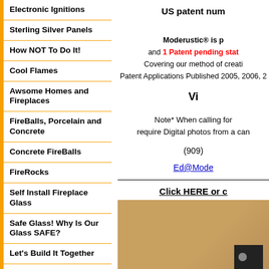Electronic Ignitions
Sterling Silver Panels
How NOT To Do It!
Cool Flames
Awsome Homes and Fireplaces
FireBalls, Porcelain and Concrete
Concrete FireBalls
FireRocks
Self Install Fireplace Glass
Safe Glass! Why Is Our Glass SAFE?
Let's Build It Together
Modernize Your Moderustic Fireplace Or Fire Pit
Various Fire and Water
US patent num
Moderustic® is p and 1 Patent pending stat Covering our method of creati Patent Applications Published 2005, 2006, 2
Vi
Note* When calling for require Digital photos from a can
(909)
Ed@Mode
Click HERE or c
[Figure (photo): Tan/brown cardboard box or wooden surface with a dark panel at bottom right containing a circular knob]